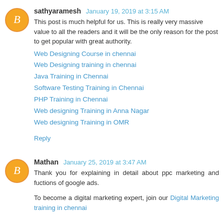sathyaramesh  January 19, 2019 at 3:15 AM
This post is much helpful for us. This is really very massive value to all the readers and it will be the only reason for the post to get popular with great authority.
Web Designing Course in chennai
Web Designing training in chennai
Java Training in Chennai
Software Testing Training in Chennai
PHP Training in Chennai
Web designing Training in Anna Nagar
Web designing Training in OMR
Reply
Mathan  January 25, 2019 at 3:47 AM
Thank you for explaining in detail about ppc marketing and fuctions of google ads.
To become a digital marketing expert, join our Digital Marketing training in chennai